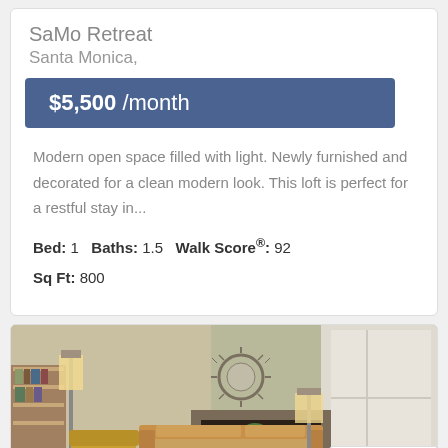SaMo Retreat
Santa Monica,
$5,500 /month
Modern open space filled with light. Newly furnished and decorated for a clean modern look. This loft is perfect for a restful stay in...
Bed: 1   Baths: 1.5   Walk Score®: 92
Sq Ft: 800
[Figure (photo): Interior photo of a modern living room with mid-century furniture, a sunburst mirror on the wall, floor lamp, sofa, and a bright window]